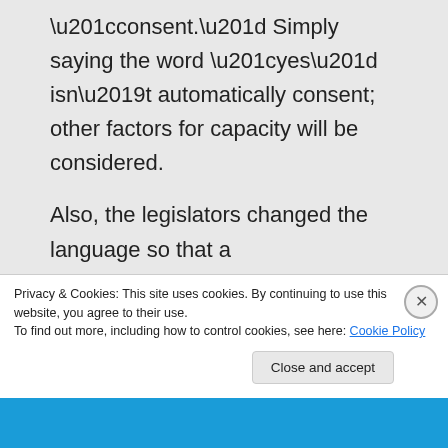“consent.” Simply saying the word “yes” isn’t automatically consent; other factors for capacity will be considered.

Also, the legislators changed the language so that a “yes” must be an “affirmative, conscious, and voluntary agreement to engage in sexual activity.” They took out the “unequivocal” language.
Privacy & Cookies: This site uses cookies. By continuing to use this website, you agree to their use.
To find out more, including how to control cookies, see here: Cookie Policy